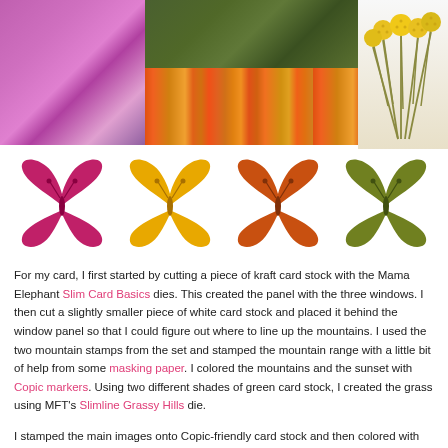[Figure (photo): Three-photo collage: left shows purple/magenta forest path, center-top shows dark green leaves, center-bottom shows orange/yellow mosaic tile pattern, right shows yellow billy buttons (craspedia) flowers on stems against white background]
[Figure (illustration): Four butterfly silhouettes in a row: magenta/pink, golden yellow, orange, and olive green]
For my card, I first started by cutting a piece of kraft card stock with the Mama Elephant Slim Card Basics dies. This created the panel with the three windows. I then cut a slightly smaller piece of white card stock and placed it behind the window panel so that I could figure out where to line up the mountains. I used the two mountain stamps from the set and stamped the mountain range with a little bit of help from some masking paper. I colored the mountains and the sunset with Copic markers. Using two different shades of green card stock, I created the grass using MFT's Slimline Grassy Hills die.
I stamped the main images onto Copic-friendly card stock and then colored with my markers. I used the matching dies to cut them out, along with a couple layers of plain